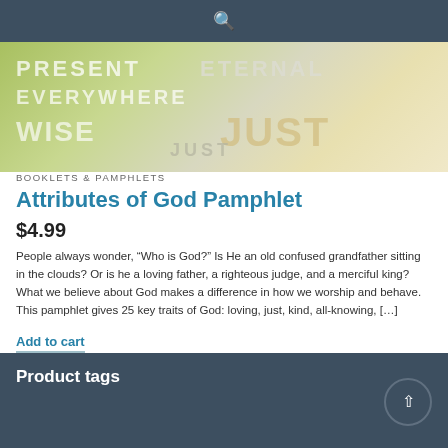Search
[Figure (photo): Book/pamphlet cover image with overlay text: PRESENT EVERYWHERE, ETERNAL, WISE, JUST]
BOOKLETS & PAMPHLETS
Attributes of God Pamphlet
$4.99
People always wonder, “Who is God?” Is He an old confused grandfather sitting in the clouds? Or is he a loving father, a righteous judge, and a merciful king? What we believe about God makes a difference in how we worship and behave. This pamphlet gives 25 key traits of God: loving, just, kind, all-knowing, […]
Add to cart
Product tags